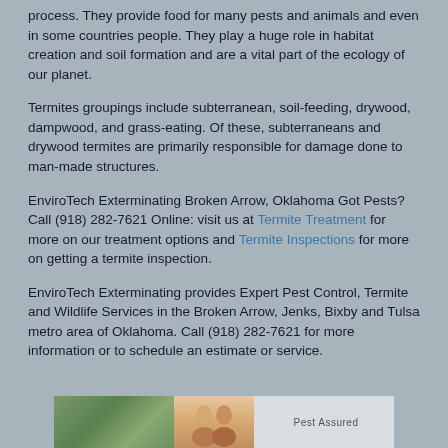process. They provide food for many pests and animals and even in some countries people. They play a huge role in habitat creation and soil formation and are a vital part of the ecology of our planet.
Termites groupings include subterranean, soil-feeding, drywood, dampwood, and grass-eating. Of these, subterraneans and drywood termites are primarily responsible for damage done to man-made structures.
EnviroTech Exterminating Broken Arrow, Oklahoma Got Pests? Call (918) 282-7621 Online: visit us at Termite Treatment for more on our treatment options and Termite Inspections for more on getting a termite inspection.
EnviroTech Exterminating provides Expert Pest Control, Termite and Wildlife Services in the Broken Arrow, Jenks, Bixby and Tulsa metro area of Oklahoma. Call (918) 282-7621 for more information or to schedule an estimate or service.
[Figure (photo): Partial image strip at bottom showing outdoor foliage on left, two people in center, and 'Pest Assured' text/logo on right]